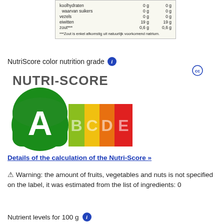[Figure (photo): Nutrition label in Dutch showing koolhydraten 0g, waarvan suikers 0g, vezels 0g, eiwitten 19g, zout 0.6g with footnote about salt from natural sodium]
NutriScore color nutrition grade
[Figure (infographic): NutriScore graphic showing grades A through E with A highlighted in large green circle on the left, followed by B (light green), C (yellow), D (orange), E (red) in rounded rectangle bar]
Details of the calculation of the Nutri-Score »
⚠ Warning: the amount of fruits, vegetables and nuts is not specified on the label, it was estimated from the list of ingredients: 0
Nutrient levels for 100 g